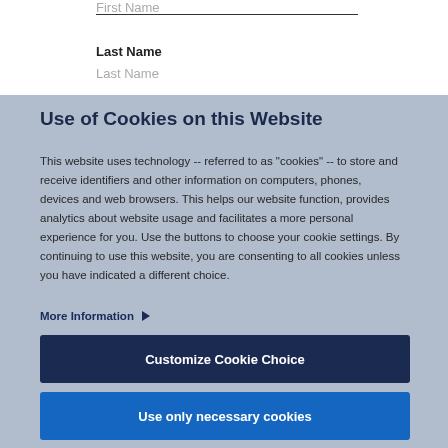First Name
Last Name
Last Name
Use of Cookies on this Website
This website uses technology -- referred to as "cookies" -- to store and receive identifiers and other information on computers, phones, devices and web browsers. This helps our website function, provides analytics about website usage and facilitates a more personal experience for you. Use the buttons to choose your cookie settings. By continuing to use this website, you are consenting to all cookies unless you have indicated a different choice.
More Information ▶
Customize Cookie Choice
Use only necessary cookies
Accept All Cookies